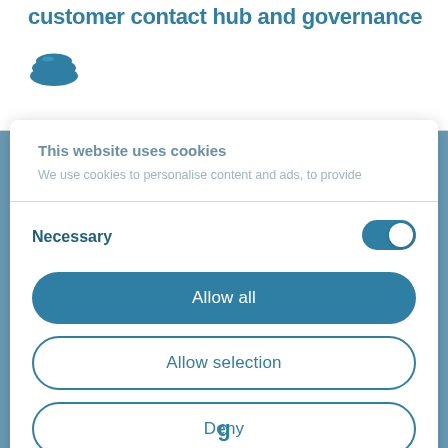customer contact hub and governance
[Figure (logo): Cookiebot/cookie icon - dark teal oval cookie logo]
This website uses cookies
We use cookies to personalise content and ads, to provide
Necessary
[Figure (other): Toggle switch in ON state (dark teal)]
Allow all
Allow selection
Deny
Powered by Cookiebot by Usercentrics